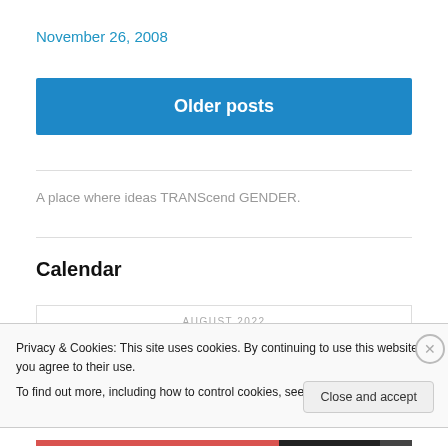November 26, 2008
Older posts
A place where ideas TRANScend GENDER.
Calendar
AUGUST 2022
Privacy & Cookies: This site uses cookies. By continuing to use this website, you agree to their use.
To find out more, including how to control cookies, see here: Cookie Policy
Close and accept